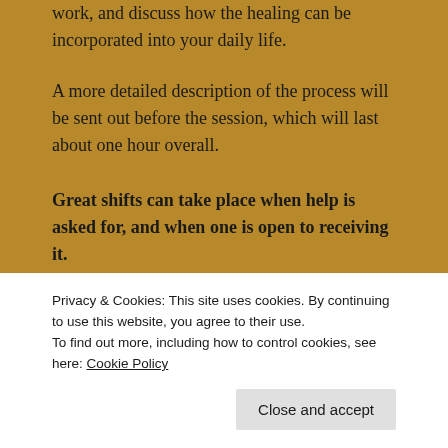work, and discuss how the healing can be incorporated into your daily life.
A more detailed description of the process will be sent out before the session, which will last about one hour overall.
Great shifts can take place when help is asked for, and when one is open to receiving it.
“Trevor’s guidance before and after the session was great, and I felt confident that the healing was taking place. Just a
Privacy & Cookies: This site uses cookies. By continuing to use this website, you agree to their use.
To find out more, including how to control cookies, see here: Cookie Policy
Close and accept